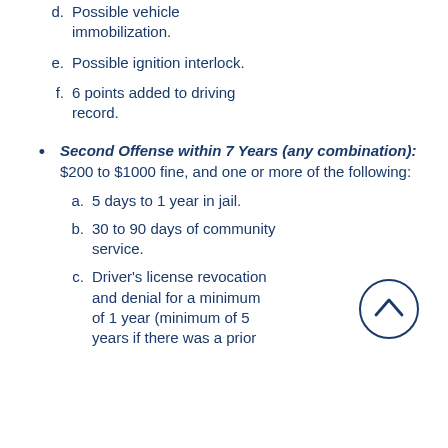d. Possible vehicle immobilization.
e. Possible ignition interlock.
f. 6 points added to driving record.
Second Offense within 7 Years (any combination): $200 to $1000 fine, and one or more of the following:
a. 5 days to 1 year in jail.
b. 30 to 90 days of community service.
c. Driver's license revocation and denial for a minimum of 1 year (minimum of 5 years if there was a prior